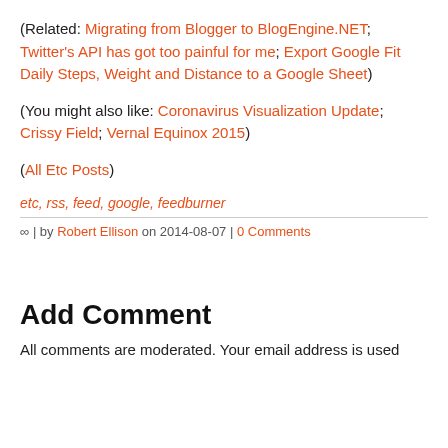(Related: Migrating from Blogger to BlogEngine.NET; Twitter's API has got too painful for me; Export Google Fit Daily Steps, Weight and Distance to a Google Sheet)
(You might also like: Coronavirus Visualization Update; Crissy Field; Vernal Equinox 2015)
(All Etc Posts)
etc, rss, feed, google, feedburner
∞ | by Robert Ellison on 2014-08-07 | 0 Comments
Add Comment
All comments are moderated. Your email address is used